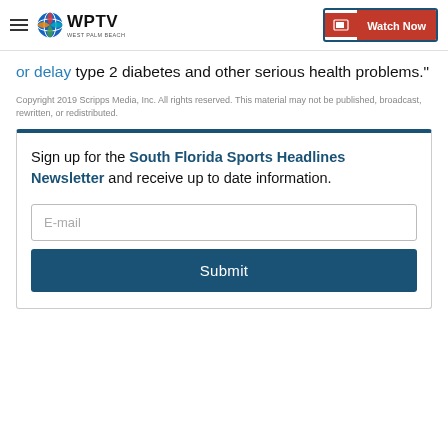WPTV — Watch Now
or delay type 2 diabetes and other serious health problems."
Copyright 2019 Scripps Media, Inc. All rights reserved. This material may not be published, broadcast, rewritten, or redistributed.
Sign up for the South Florida Sports Headlines Newsletter and receive up to date information.